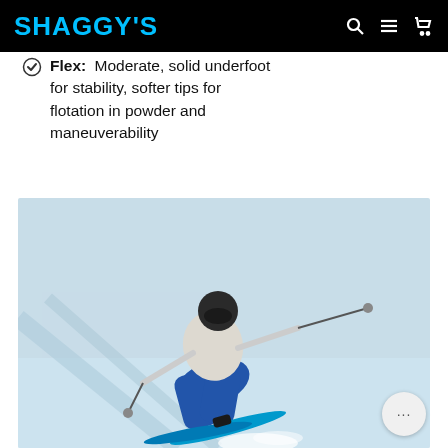SHAGGY'S
Flex: Moderate, solid underfoot for stability, softer tips for flotation in powder and maneuverability
[Figure (photo): Skier in a white jacket and blue pants carving aggressively on a groomed snow slope, leaning hard into a turn with poles extended, wearing a black helmet]